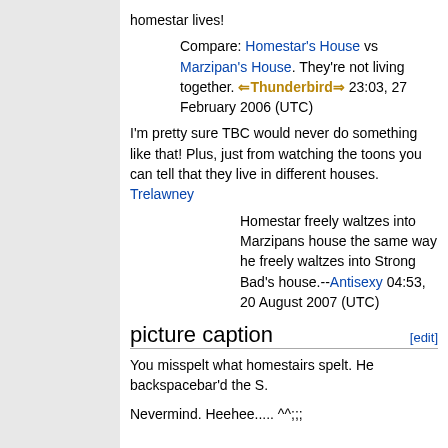homestar lives!
Compare: Homestar's House vs Marzipan's House. They're not living together. ⇐Thunderbird⇒ 23:03, 27 February 2006 (UTC)
I'm pretty sure TBC would never do something like that! Plus, just from watching the toons you can tell that they live in different houses. Trelawney
Homestar freely waltzes into Marzipans house the same way he freely waltzes into Strong Bad's house.--Antisexy 04:53, 20 August 2007 (UTC)
picture caption
You misspelt what homestairs spelt. He backspacebar'd the S.
Nevermind. Heehee..... ^^;;;